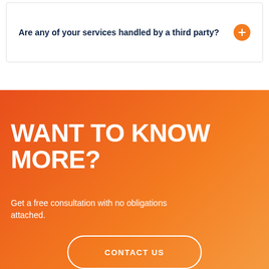Are any of your services handled by a third party?
WANT TO KNOW MORE?
Get a free consultation with no obligations attached.
CONTACT US